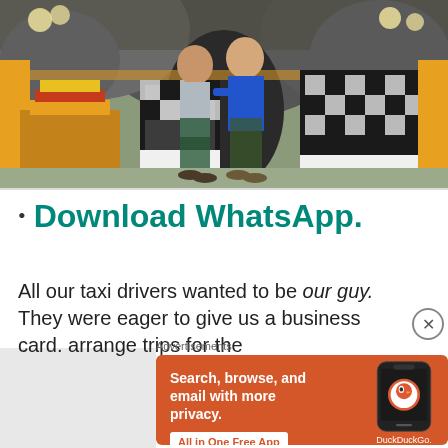[Figure (photo): Two people (a woman and a man in a blue t-shirt) posing together at what appears to be a Balinese Hindu temple or shrine, surrounded by yellow and black-and-white checkered fabric decorations and ornate religious offerings.]
Download WhatsApp.
All our taxi drivers wanted to be our guy. They were eager to give us a business card. arrange trips for the
Advertisements
[Figure (infographic): DuckDuckGo advertisement banner. Orange/red background. Text: 'Search, browse, and email with more privacy. All in One Free App'. Shows a smartphone with the DuckDuckGo logo and wordmark.]